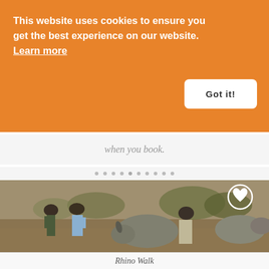This website uses cookies to ensure you get the best experience on our website. Learn more
Got it!
when you book.
[Figure (photo): Two tourists in hats and a guide standing near white rhinoceroses in a dry savanna landscape, with a heart/favorite icon overlay in the upper right of the image]
Rhino Walk